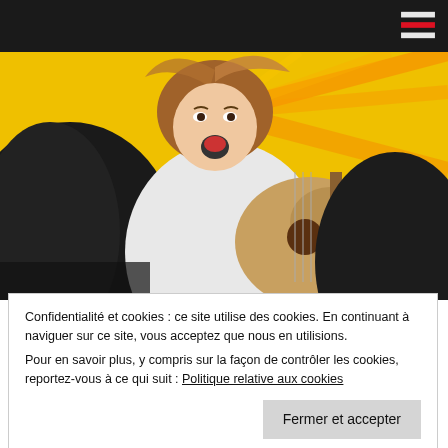Navigation bar with hamburger menu icon
[Figure (photo): Young Asian woman playing guitar with mouth open, singing enthusiastically, wearing white top with leather jacket, yellow background with dramatic light rays]
24 juin 2018  0 [comment bubble icon]
LOUDER! Can't Hear What You're Singin', Wimp! au Festival Fantasia
Confidentialité et cookies : ce site utilise des cookies. En continuant à naviguer sur ce site, vous acceptez que nous en utilisions. Pour en savoir plus, y compris sur la façon de contrôler les cookies, reportez-vous à ce qui suit : Politique relative aux cookies
Fermer et accepter